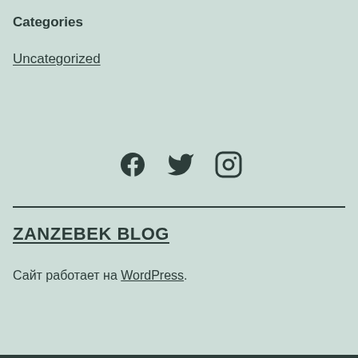Categories
Uncategorized
[Figure (other): Social media icons: Facebook, Twitter, Instagram]
ZANZEBEK BLOG
Сайт работает на WordPress.